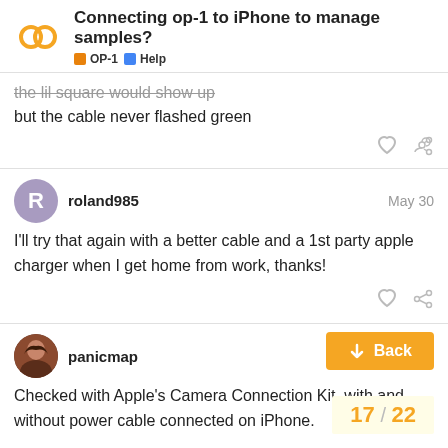Connecting op-1 to iPhone to manage samples? | OP-1 | Help
the lil square would show up
but the cable never flashed green
roland985 — May 30
I'll try that again with a better cable and a 1st party apple charger when I get home from work, thanks!
panicmap — May 30
Checked with Apple's Camera Connection Kit, with and without power cable connected on iPhone.
Back
17 / 22